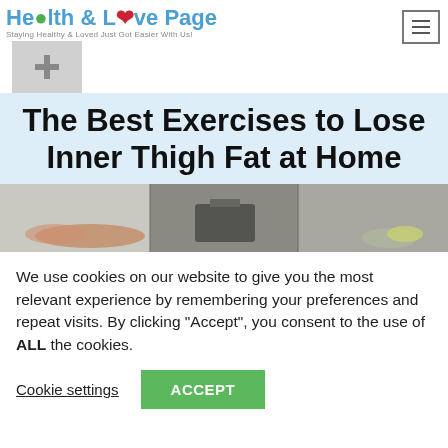Health & Love Page — Staying Healthy & Loved Just Got Easier With Us!
The Best Exercises to Lose Inner Thigh Fat at Home
[Figure (photo): Exercise photo strip showing a person doing inner thigh exercises on the floor]
We use cookies on our website to give you the most relevant experience by remembering your preferences and repeat visits. By clicking "Accept", you consent to the use of ALL the cookies.
Cookie settings | ACCEPT